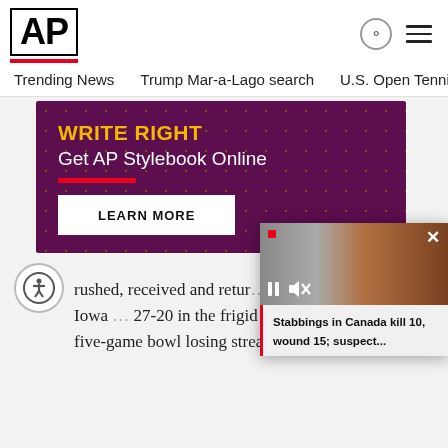AP
Trending News
Trump Mar-a-Lago search
U.S. Open Tennis
[Figure (infographic): AP Stylebook advertisement: purple dotted background with 'WRITE RIGHT' in yellow, 'Get AP Stylebook Online' in white, red underline, and 'LEARN MORE' button]
rushed, received and returned on a frozen field and Iowa 27-20 in the frigid Pinstripe Bowl to snap a five-game bowl losing streak
[Figure (screenshot): Floating video thumbnail showing two men's photos with red dot, pause and mute controls, X close button, and caption 'Stabbings in Canada kill 10, wound 15; suspect...']